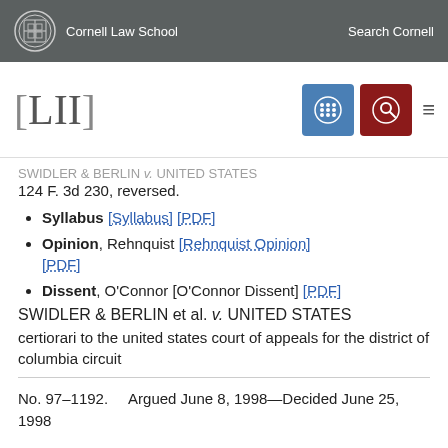Cornell Law School   Search Cornell
[Figure (logo): LII Legal Information Institute logo with navigation icons]
SWIDLER & BERLIN v. UNITED STATES
124 F. 3d 230, reversed.
Syllabus [Syllabus] [PDF]
Opinion, Rehnquist [Rehnquist Opinion] [PDF]
Dissent, O'Connor [O'Connor Dissent] [PDF]
SWIDLER & BERLIN et al. v. UNITED STATES
certiorari to the united states court of appeals for the district of columbia circuit
No. 97–1192.     Argued June 8, 1998—Decided June 25, 1998